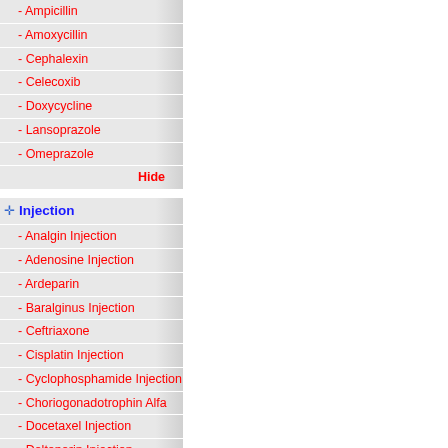- Ampicillin
- Amoxycillin
- Cephalexin
- Celecoxib
- Doxycycline
- Lansoprazole
- Omeprazole
Hide
Injection
- Analgin Injection
- Adenosine Injection
- Ardeparin
- Baralginus Injection
- Ceftriaxone
- Cisplatin Injection
- Cyclophosphamide Injection
- Choriogonadotrophin Alfa
- Docetaxel Injection
- Dalteparin Injection
- Dobutamine Hydrochloride Injection
- Erythropoietin Injection
- Gemcitabine Injection
- Gatifloxacin
- Ifosfamide Injection